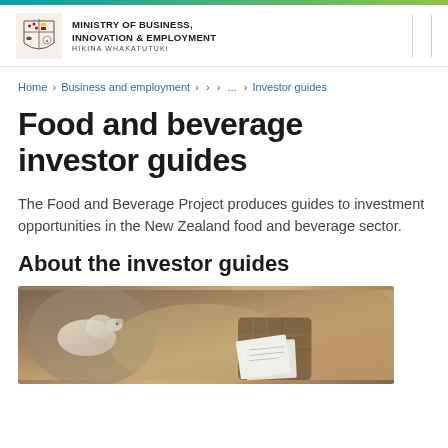MINISTRY OF BUSINESS, INNOVATION & EMPLOYMENT HIKINA WHAKATUTUKI
Home › Business and employment › › › ... › Investor guides
Food and beverage investor guides
The Food and Beverage Project produces guides to investment opportunities in the New Zealand food and beverage sector.
About the investor guides
[Figure (photo): Person holding documents with sheep in background, agricultural setting]